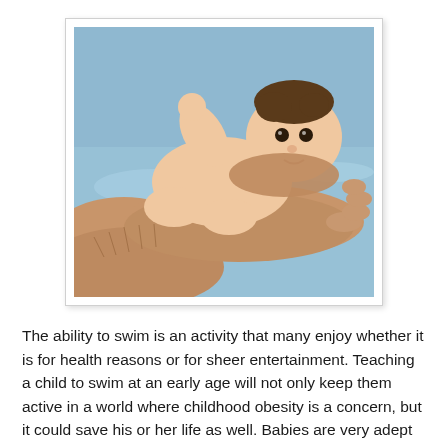[Figure (photo): A newborn baby lying in an adult's hands submerged in water, being bathed or given a swimming lesson. The baby looks calm, resting in large adult hands with water around them.]
The ability to swim is an activity that many enjoy whether it is for health reasons or for sheer entertainment. Teaching a child to swim at an early age will not only keep them active in a world where childhood obesity is a concern, but it could save his or her life as well. Babies are very adept at being able to swim because of natural instincts. Parents have little to concern themselves with while the baby is at an early age. However, we lose these kinds of instincts as we get older and teaching a child the proper way to survive the water